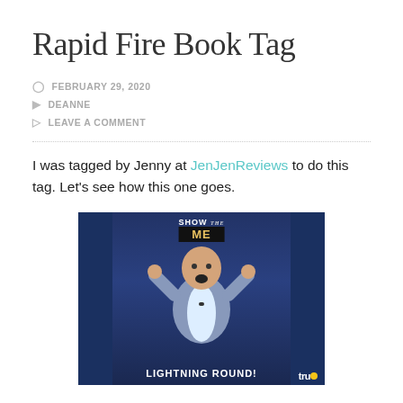Rapid Fire Book Tag
FEBRUARY 29, 2020
DEANNE
LEAVE A COMMENT
I was tagged by Jenny at JenJenReviews to do this tag. Let's see how this one goes.
[Figure (photo): GIF/image from a TV show featuring a man in a grey blazer with arms raised on a stage set, with text 'LIGHTNING ROUND!' at the bottom and the truTV (tru) logo in the bottom right corner. Sign at top reads 'SHOW the GAME'.]